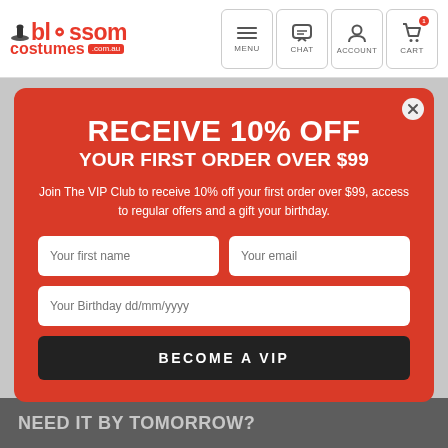blossom costumes .com.au — MENU, CHAT, ACCOUNT, CART
RECEIVE 10% OFF YOUR FIRST ORDER OVER $99
Join The VIP Club to receive 10% off your first order over $99, access to regular offers and a gift your birthday.
Your first name | Your email | Your Birthday dd/mm/yyyy | BECOME A VIP
Check Delivery Time and Cost
NEED IT BY TOMORROW?